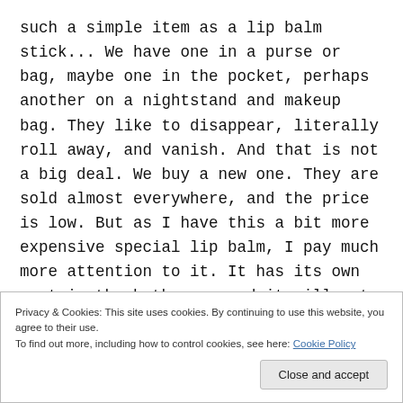such a simple item as a lip balm stick... We have one in a purse or bag, maybe one in the pocket, perhaps another on a nightstand and makeup bag. They like to disappear, literally roll away, and vanish. And that is not a big deal. We buy a new one. They are sold almost everywhere, and the price is low. But as I have this a bit more expensive special lip balm, I pay much more attention to it. It has its own spot in the bathroom, and it will not disappear. I am aware of it. Is it the same thing with socks, pens, hair ties... Those items keep on
Privacy & Cookies: This site uses cookies. By continuing to use this website, you agree to their use.
To find out more, including how to control cookies, see here: Cookie Policy
Close and accept